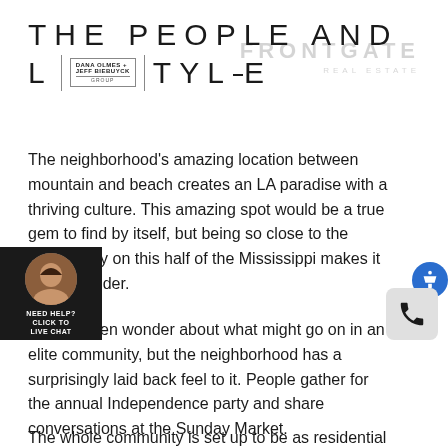THE PEOPLE AND LIFESTYLE
[Figure (logo): Dana Olmes + Jeff Biebuyck Group logo and Frontgate Real Estate watermark]
The neighborhood's amazing location between mountain and beach creates an LA paradise with a thriving culture. This amazing spot would be a true gem to find by itself, but being so close to the biggest city on this half of the Mississippi makes it a true wonder.
People often wonder about what might go on in an elite community, but the neighborhood has a surprisingly laid back feel to it. People gather for the annual Independence party and share conversations at the Sunday Market.
The whole community is set up to be as residential